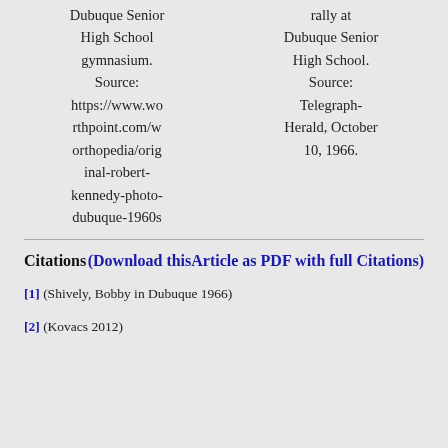Dubuque Senior High School gymnasium. Source: https://www.worthpoint.com/worthopedia/original-robert-kennedy-photo-dubuque-1960s
rally at Dubuque Senior High School. Source: Telegraph-Herald, October 10, 1966.
Citations    (Download this Article as PDF with full Citations)
[1] (Shively, Bobby in Dubuque 1966)
[2] (Kovacs 2012)